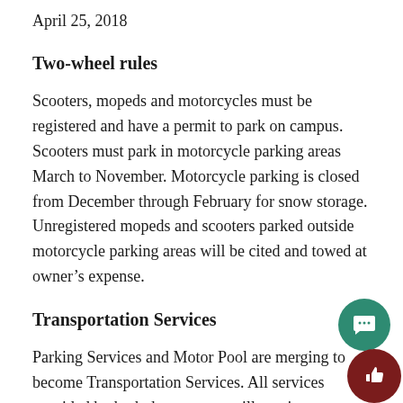April 25, 2018
Two-wheel rules
Scooters, mopeds and motorcycles must be registered and have a permit to park on campus. Scooters must park in motorcycle parking areas March to November. Motorcycle parking is closed from December through February for snow storage. Unregistered mopeds and scooters parked outside motorcycle parking areas will be cited and towed at owner’s expense.
Transportation Services
Parking Services and Motor Pool are merging to become Transportation Services. All services provided by both departments will continue as usual. As of May 7, Transportation Services will be located at the Motor Pool Complex on campus at 1601 Stadium Road. Office hours will be 6 a.m. to 5 p.m. Monday through Friday.